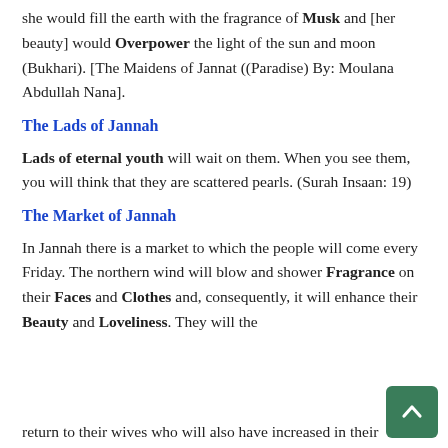she would fill the earth with the fragrance of Musk and [her beauty] would Overpower the light of the sun and moon (Bukhari). [The Maidens of Jannat ((Paradise) By: Moulana Abdullah Nana].
The Lads of Jannah
Lads of eternal youth will wait on them. When you see them, you will think that they are scattered pearls. (Surah Insaan: 19)
The Market of Jannah
In Jannah there is a market to which the people will come every Friday. The northern wind will blow and shower Fragrance on their Faces and Clothes and, consequently, it will enhance their Beauty and Loveliness. They will the return to their wives who will also have increased in their